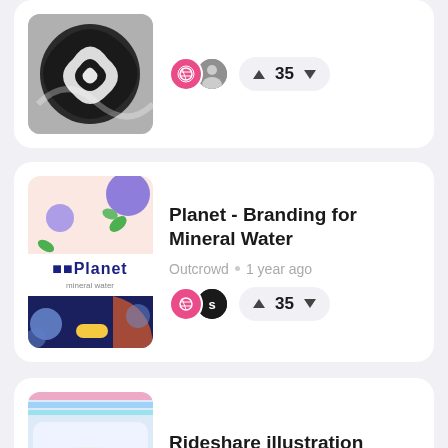[Figure (screenshot): App listing card (partial, top-clipped) with abstract black and white swirl thumbnail, dribbble and user avatars, vote count 35]
[Figure (screenshot): App listing card for 'Planet - Branding for Mineral Water' by Outcrowd, 1 year ago, vote count 35]
Planet - Branding for Mineral Water
Outcrowd • 1 year ago
[Figure (screenshot): App listing card for 'Rideshare illustration' by Gleb Kuzne..., 2 years ago, vote count 35]